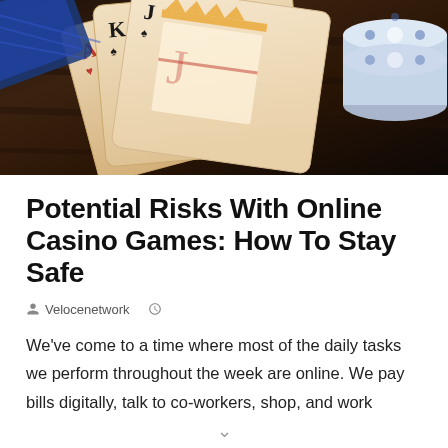[Figure (photo): Close-up photo of playing cards (Jack, King, Ace) spread on a dark wooden surface with casino poker chips on the right side]
Potential Risks With Online Casino Games: How To Stay Safe
Velocenetwork  (clock icon)
We've come to a time where most of the daily tasks we perform throughout the week are online. We pay bills digitally, talk to co-workers, shop, and work